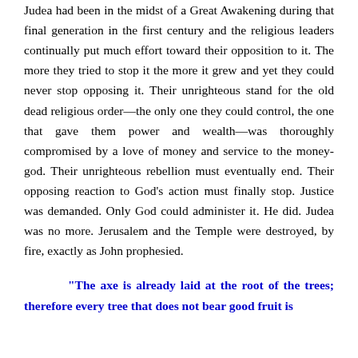Judea had been in the midst of a Great Awakening during that final generation in the first century and the religious leaders continually put much effort toward their opposition to it. The more they tried to stop it the more it grew and yet they could never stop opposing it. Their unrighteous stand for the old dead religious order—the only one they could control, the one that gave them power and wealth—was thoroughly compromised by a love of money and service to the money-god. Their unrighteous rebellion must eventually end. Their opposing reaction to God's action must finally stop. Justice was demanded. Only God could administer it. He did. Judea was no more. Jerusalem and the Temple were destroyed, by fire, exactly as John prophesied.
"The axe is already laid at the root of the trees; therefore every tree that does not bear good fruit is